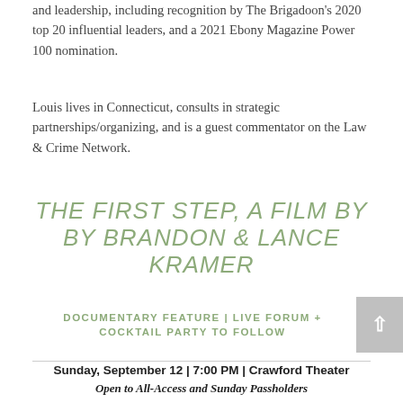and leadership, including recognition by The Brigadoon's 2020 top 20 influential leaders, and a 2021 Ebony Magazine Power 100 nomination.
Louis lives in Connecticut, consults in strategic partnerships/organizing, and is a guest commentator on the Law & Crime Network.
THE FIRST STEP, A FILM BY BY BRANDON & LANCE KRAMER
DOCUMENTARY FEATURE | LIVE FORUM + COCKTAIL PARTY TO FOLLOW
Sunday, September 12 | 7:00 PM | Crawford Theater
Open to All-Access and Sunday Passholders